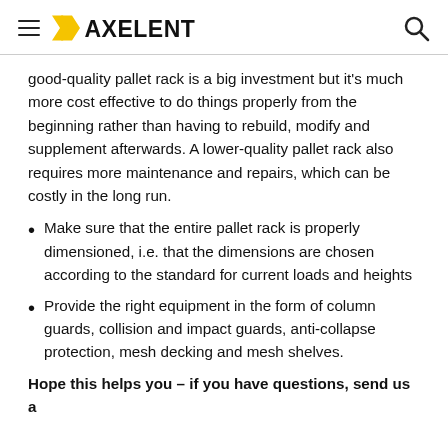AXELENT
good-quality pallet rack is a big investment but it's much more cost effective to do things properly from the beginning rather than having to rebuild, modify and supplement afterwards. A lower-quality pallet rack also requires more maintenance and repairs, which can be costly in the long run.
Make sure that the entire pallet rack is properly dimensioned, i.e. that the dimensions are chosen according to the standard for current loads and heights
Provide the right equipment in the form of column guards, collision and impact guards, anti-collapse protection, mesh decking and mesh shelves.
Hope this helps you – if you have questions, send us a